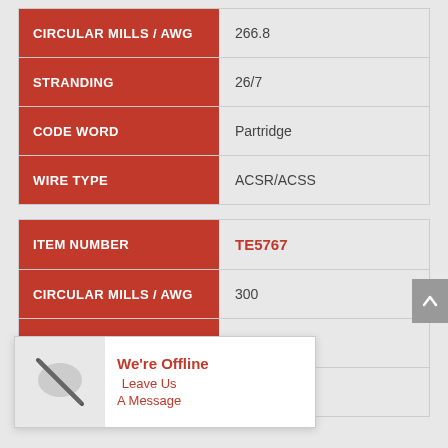| Field | Value |
| --- | --- |
| CIRCULAR MILLS / AWG | 266.8 |
| STRANDING | 26/7 |
| CODE WORD | Partridge |
| WIRE TYPE | ACSR/ACSS |
| Field | Value |
| --- | --- |
| ITEM NUMBER | TE5767 |
| CIRCULAR MILLS / AWG | 300 |
| STRANDING | 26/7 |
| CODE WORD | Ostrich |